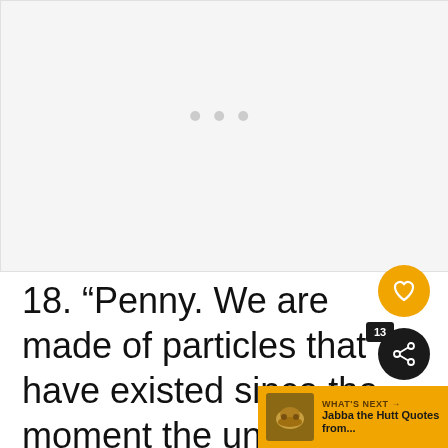[Figure (other): Loading placeholder with three grey dots on a light grey background]
18. “Penny. We are made of particles that have existed since the moment the universe began. I like to think those atoms traveled fourteen billion years